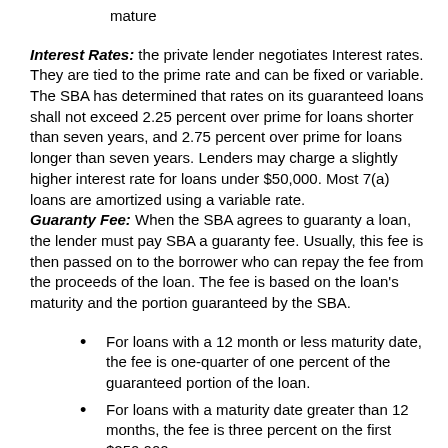mature
Interest Rates: the private lender negotiates Interest rates. They are tied to the prime rate and can be fixed or variable. The SBA has determined that rates on its guaranteed loans shall not exceed 2.25 percent over prime for loans shorter than seven years, and 2.75 percent over prime for loans longer than seven years. Lenders may charge a slightly higher interest rate for loans under $50,000. Most 7(a) loans are amortized using a variable rate.
Guaranty Fee: When the SBA agrees to guaranty a loan, the lender must pay SBA a guaranty fee. Usually, this fee is then passed on to the borrower who can repay the fee from the proceeds of the loan. The fee is based on the loan's maturity and the portion guaranteed by the SBA.
For loans with a 12 month or less maturity date, the fee is one-quarter of one percent of the guaranteed portion of the loan.
For loans with a maturity date greater than 12 months, the fee is three percent on the first $250,000